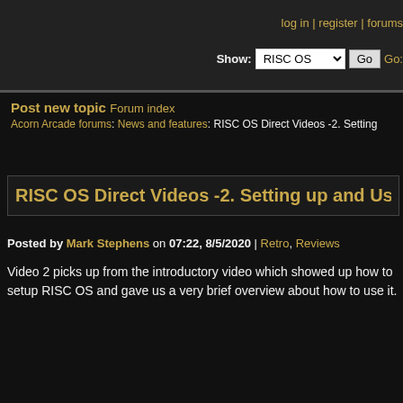log in | register | forums | Show: RISC OS | Go | Go:
Post new topic
Forum index
Acorn Arcade forums: News and features: RISC OS Direct Videos -2. Setting up and Us
RISC OS Direct Videos -2. Setting up and Us
Posted by Mark Stephens on 07:22, 8/5/2020 | Retro, Reviews
Video 2 picks up from the introductory video which showed up how to setup RISC OS and gave us a very brief overview about how to use it.